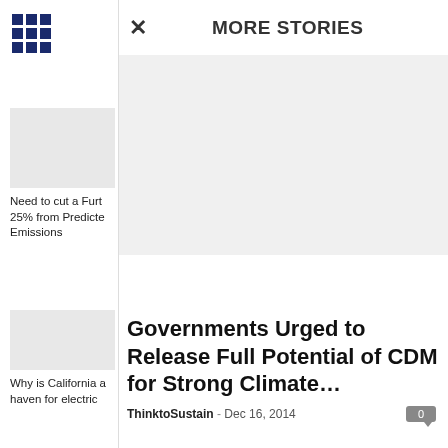[Figure (other): 3x3 grid icon in dark navy blue]
[Figure (photo): Thumbnail image for article about cutting 25% from predicted emissions]
Need to cut a Furt 25% from Predicte Emissions
× MORE STORIES
[Figure (photo): Main article image area (blank/loading) for CDM story]
[Figure (photo): Thumbnail image for California electric vehicles article]
Why is California a haven for electric
Governments Urged to Release Full Potential of CDM for Strong Climate…
ThinktoSustain - Dec 16, 2014